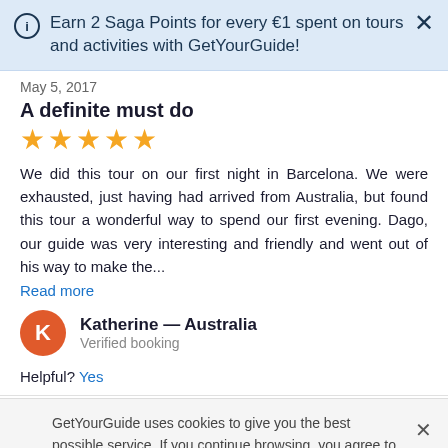Earn 2 Saga Points for every €1 spent on tours and activities with GetYourGuide!
May 5, 2017
A definite must do
We did this tour on our first night in Barcelona. We were exhausted, just having had arrived from Australia, but found this tour a wonderful way to spend our first evening. Dago, our guide was very interesting and friendly and went out of his way to make the...
Read more
Katherine — Australia
Verified booking
Helpful? Yes
GetYourGuide uses cookies to give you the best possible service. If you continue browsing, you agree to the use of cookies. More details can be found in our privacy policy.